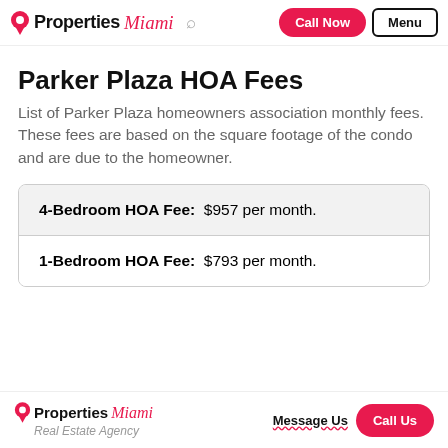Properties Miami — Call Now | Menu
Parker Plaza HOA Fees
List of Parker Plaza homeowners association monthly fees. These fees are based on the square footage of the condo and are due to the homeowner.
| 4-Bedroom HOA Fee: | $957 per month. |
| 1-Bedroom HOA Fee: | $793 per month. |
Properties Miami Real Estate Agency | Message Us | Call Us